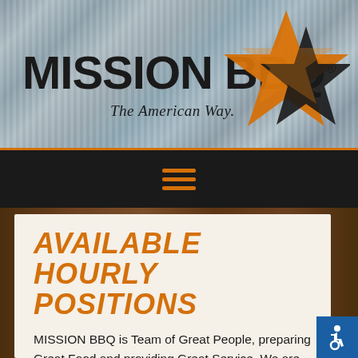[Figure (logo): Mission BBQ logo with corrugated metal background, large bold text 'MISSION BBQ' with registered trademark symbol, tagline 'The American Way.' in italic, and a two-tone orange and black star logo on the right]
[Figure (other): Black navigation bar with orange hamburger menu icon (three horizontal orange lines)]
AVAILABLE HOURLY POSITIONS
MISSION BBQ is Team of Great People, preparing Great Food and providing Great Service. We are looking for more Great People to join our team.